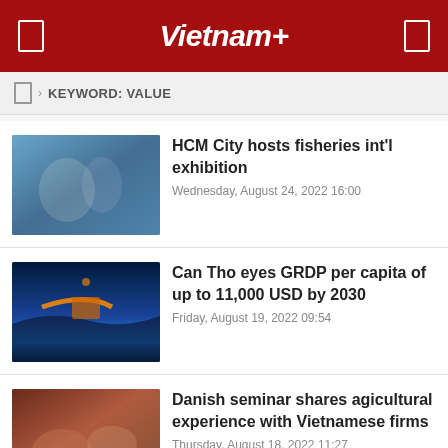Vietnam+
KEYWORD: VALUE
HCM City hosts fisheries int'l exhibition
Wednesday, August 24, 2022 16:00
Can Tho eyes GRDP per capita of up to 11,000 USD by 2030
Friday, August 19, 2022 09:54
Danish seminar shares agicultural experience with Vietnamese firms
Thursday, August 18, 2022 11:27